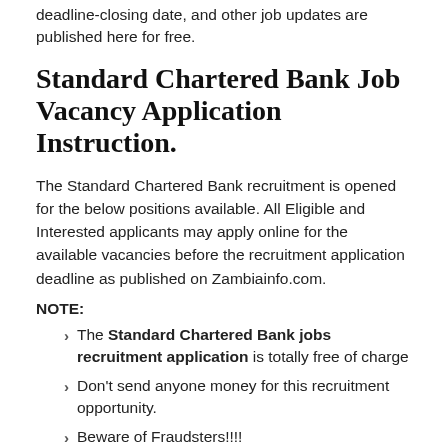deadline-closing date, and other job updates are published here for free.
Standard Chartered Bank Job Vacancy Application Instruction.
The Standard Chartered Bank recruitment is opened for the below positions available. All Eligible and Interested applicants may apply online for the available vacancies before the recruitment application deadline as published on Zambiainfo.com.
NOTE:
The Standard Chartered Bank jobs recruitment application is totally free of charge
Don't send anyone money for this recruitment opportunity.
Beware of Fraudsters!!!!
Subscribe to our notification list with your email to receive the Latest Jobs Update.
Details of Standard Chartered